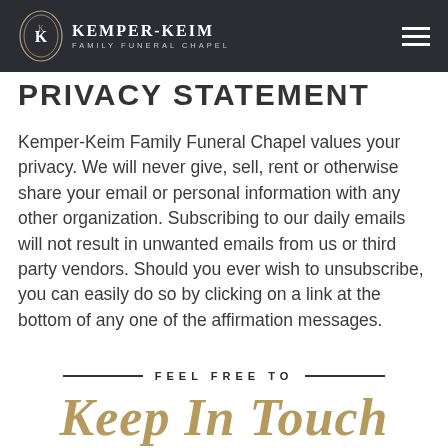KEMPER-KEIM FAMILY FUNERAL CHAPEL
PRIVACY STATEMENT
Kemper-Keim Family Funeral Chapel values your privacy. We will never give, sell, rent or otherwise share your email or personal information with any other organization. Subscribing to our daily emails will not result in unwanted emails from us or third party vendors. Should you ever wish to unsubscribe, you can easily do so by clicking on a link at the bottom of any one of the affirmation messages.
FEEL FREE TO
Keep In Touch